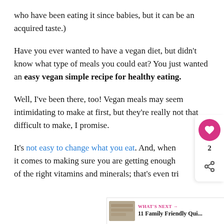who have been eating it since babies, but it can be an acquired taste.)
Have you ever wanted to have a vegan diet, but didn’t know what type of meals you could eat? You just wanted an easy vegan simple recipe for healthy eating.
Well, I’ve been there, too! Vegan meals may seem intimidating to make at first, but they’re really not that difficult to make, I promise.
It’s not easy to change what you eat. And, when it comes to making sure you are getting enough of the right vitamins and minerals; that’s even tri…